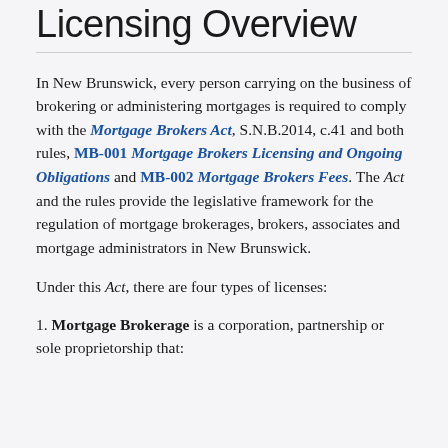Licensing Overview
In New Brunswick, every person carrying on the business of brokering or administering mortgages is required to comply with the Mortgage Brokers Act, S.N.B.2014, c.41 and both rules, MB-001 Mortgage Brokers Licensing and Ongoing Obligations and MB-002 Mortgage Brokers Fees. The Act and the rules provide the legislative framework for the regulation of mortgage brokerages, brokers, associates and mortgage administrators in New Brunswick.
Under this Act, there are four types of licenses:
1. Mortgage Brokerage is a corporation, partnership or sole proprietorship that: